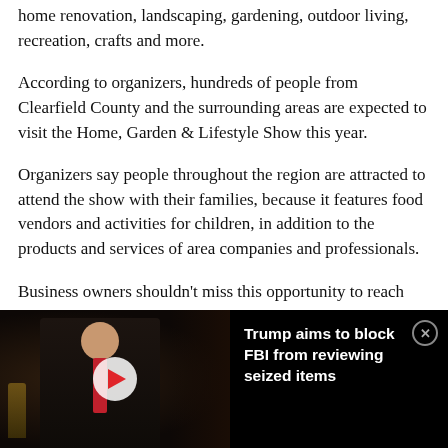home renovation, landscaping, gardening, outdoor living, recreation, crafts and more.
According to organizers, hundreds of people from Clearfield County and the surrounding areas are expected to visit the Home, Garden & Lifestyle Show this year.
Organizers say people throughout the region are attracted to attend the show with their families, because it features food vendors and activities for children, in addition to the products and services of area companies and professionals.
Business owners shouldn't miss this opportunity to reach
[Figure (screenshot): Video player bar at bottom of screen showing a photo of a man in a dark suit with a red tie, a white play button overlay, and text reading 'Trump aims to block FBI from reviewing seized items' with a close (X) button]